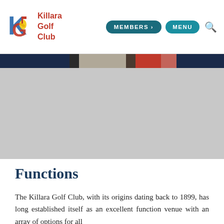Killara Golf Club | MEMBERS > | MENU
[Figure (photo): Hero image area showing a partially visible photograph with dark navy, grey, and red tones at the top strip, with the main area in grey (image loading or cropped).]
Functions
The Killara Golf Club, with its origins dating back to 1899, has long established itself as an excellent function venue with an array of options for all